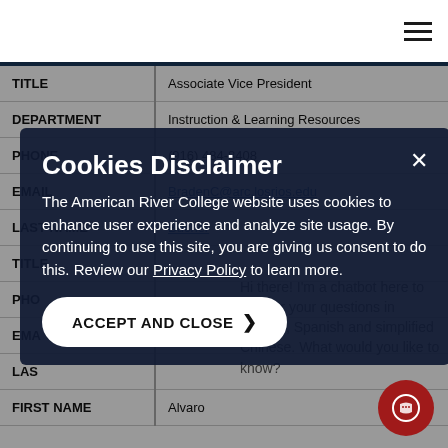American River College staff directory
| Field | Value |
| --- | --- |
| TITLE | Associate Vice President |
| DEPARTMENT | Instruction & Learning Resources |
| PHONE | (916) 484-8408 |
| EMAIL | BradenC@arc.losrios.edu |
| LAST NAME | Bucher |
| TITLE |  |
| PHONE |  |
| EMAIL |  |
| LAST NAME |  |
| FIRST NAME | Alvaro |
Cookies Disclaimer
The American River College website uses cookies to enhance user experience and analyze site usage. By continuing to use this site, you are giving us consent to do this. Review our Privacy Policy to learn more.
ACCEPT AND CLOSE